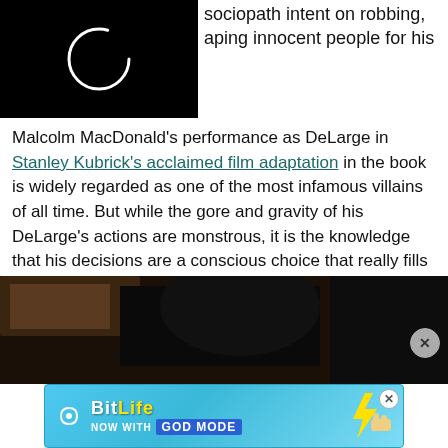[Figure (screenshot): Black video thumbnail with a white loading spinner circle icon]
sociopath intent on robbing, aping innocent people for his
Malcolm MacDonald's performance as DeLarge in Stanley Kubrick's acclaimed film adaptation in the book is widely regarded as one of the most infamous villains of all time. But while the gore and gravity of his DeLarge's actions are monstrous, it is the knowledge that his decisions are a conscious choice that really fills us with terror.
[Figure (photo): Dark cinematic screenshot showing a figure in shadow against a dark background]
[Figure (infographic): BitLife advertisement banner with teal background, logo, and GOD MODE text]